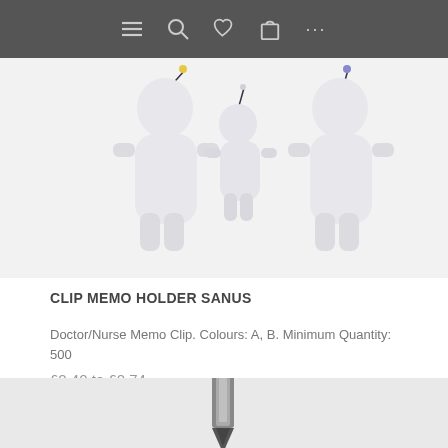[Figure (screenshot): Mobile website navigation bar with hamburger menu, search, heart/wishlist, basket, and more icons on dark grey background]
[Figure (photo): Three white doctor/nurse shaped memo clip holders (Sanus) against a light grey background]
CLIP MEMO HOLDER SANUS
Doctor/Nurse Memo Clip. Colours: A, B. Minimum Quantity: 500
£0.40 to £0.74
[Figure (screenshot): ENQUIRY BASKET button in dark navy blue with a heart/wishlist icon button in grey on the right]
[Figure (photo): Partial view of a pen/pencil tip at the bottom of the page, partially cropped]